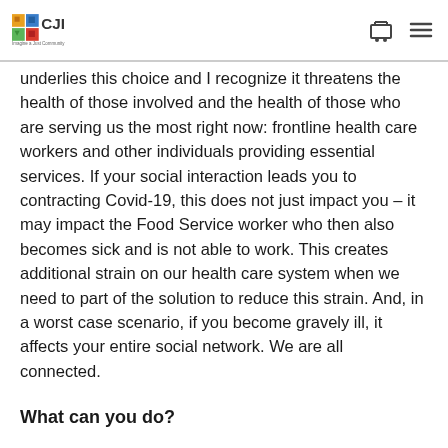CJI – Imagine a Just Community
underlies this choice and I recognize it threatens the health of those involved and the health of those who are serving us the most right now: frontline health care workers and other individuals providing essential services. If your social interaction leads you to contracting Covid-19, this does not just impact you – it may impact the Food Service worker who then also becomes sick and is not able to work. This creates additional strain on our health care system when we need to part of the solution to reduce this strain. And, in a worst case scenario, if you become gravely ill, it affects your entire social network. We are all connected.
What can you do?